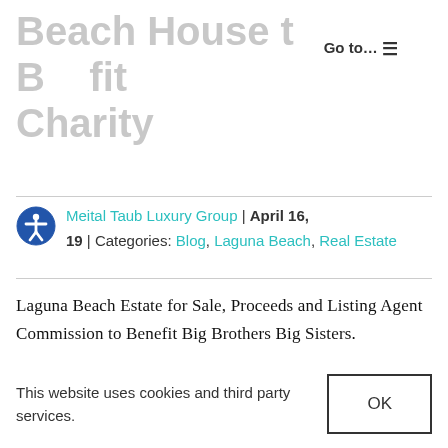Beach House t  B   fit Charity
Meital Taub Luxury Group | April 16, 19 | Categories: Blog, Laguna Beach, Real Estate
Laguna Beach Estate for Sale, Proceeds and Listing Agent Commission to Benefit Big Brothers Big Sisters.
A Laguna Beach home donated last year to
This website uses cookies and third party services.